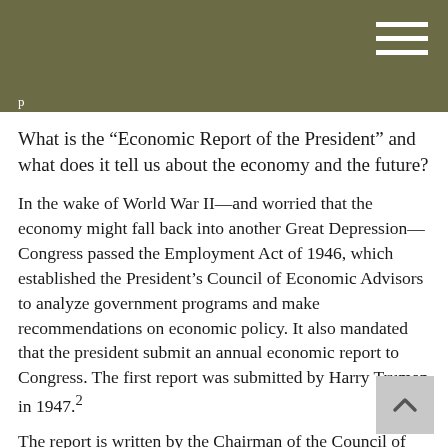What is the “Economic Report of the President” and what does it tell us about the economy and the future?
In the wake of World War II—and worried that the economy might fall back into another Great Depression—Congress passed the Employment Act of 1946, which established the President’s Council of Economic Advisors to analyze government programs and make recommendations on economic policy. It also mandated that the president submit an annual economic report to Congress. The first report was submitted by Harry Truman in 1947.²
The report is written by the Chairman of the Council of Economic Advisors and includes both text and extensive